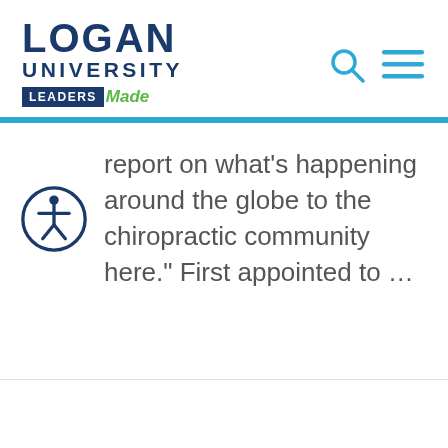[Figure (logo): Logan University logo with 'LEADERS Made' tagline]
report on what's happening around the globe to the chiropractic community here." First appointed to …
[Figure (illustration): Accessibility icon — person in circle outline]